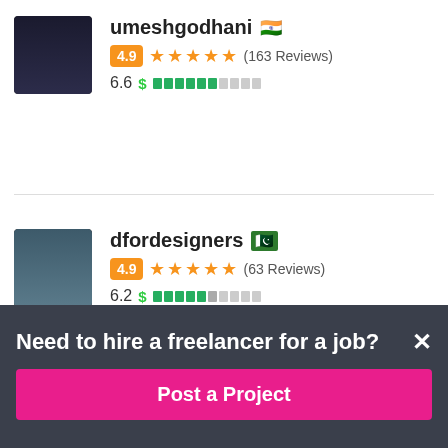umeshgodhani 🇮🇳 4.9 ★★★★★ (163 Reviews) 6.6 $
dfordesigners 🇵🇰 4.9 ★★★★★ (63 Reviews) 6.2 $
Need to hire a freelancer for a job?
Post a Project